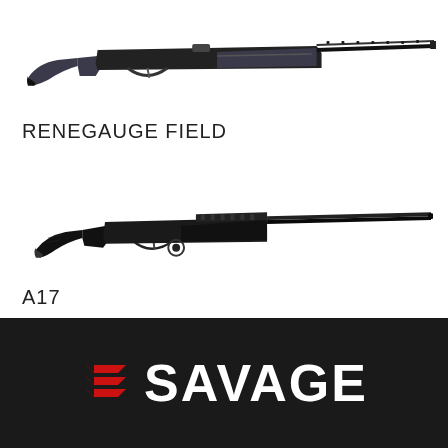[Figure (photo): Savage Renegauge Field shotgun, black synthetic stock, side profile view]
RENEGAUGE FIELD
[Figure (photo): Savage A17 rifle, black synthetic stock, side profile view]
A17
[Figure (logo): Savage Arms logo — red triple-chevron S icon followed by white bold SAVAGE text on dark background]